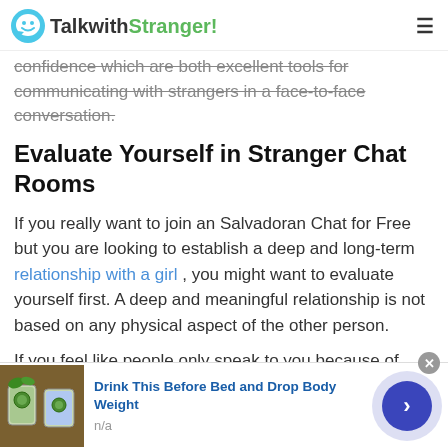TalkwithStranger!
confidence which are both excellent tools for communicating with strangers in a face-to-face conversation.
Evaluate Yourself in Stranger Chat Rooms
If you really want to join an Salvadoran Chat for Free but you are looking to establish a deep and long-term relationship with a girl , you might want to evaluate yourself first. A deep and meaningful relationship is not based on any physical aspect of the other person.
If you feel like people only speak to you because of your
[Figure (screenshot): Advertisement banner: image of drinks with cucumbers, title 'Drink This Before Bed and Drop Body Weight', subtitle 'n/a', with arrow button and close button]